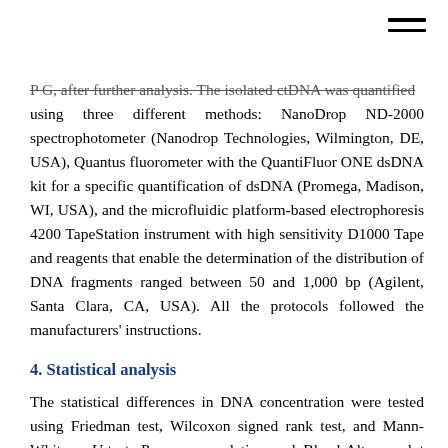P G, after further analysis. The isolated ctDNA was quantified using three different methods: NanoDrop ND-2000 spectrophotometer (Nanodrop Technologies, Wilmington, DE, USA), Quantus fluorometer with the QuantiFluor ONE dsDNA kit for a specific quantification of dsDNA (Promega, Madison, WI, USA), and the microfluidic platform-based electrophoresis 4200 TapeStation instrument with high sensitivity D1000 Tape and reagents that enable the determination of the distribution of DNA fragments ranged between 50 and 1,000 bp (Agilent, Santa Clara, CA, USA). All the protocols followed the manufacturers' instructions.
4. Statistical analysis
The statistical differences in DNA concentration were tested using Friedman test, Wilcoxon signed rank test, and Mann-Whitney U-test. Pearson correlation and Bland-Altman plot were used to assess the correlation and differences between Quantus and TapeStation. P-values <0.05 were considered statistically